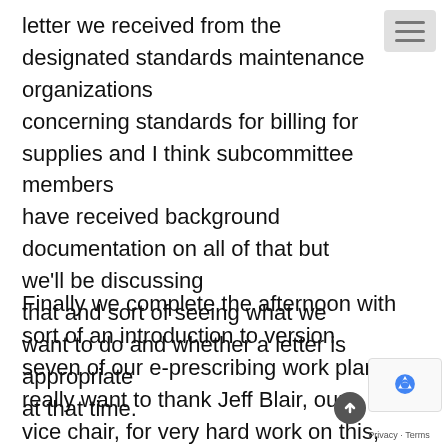letter we received from the designated standards maintenance organizations concerning standards for billing for supplies and I think subcommittee members have received background documentation on all of that but we'll be discussing that and sort of seeing what we want to do and whether a letter is appropriate at that time.

Finally we complete the afternoon with sort of an introduction to version seven of our e-prescribing work plan. I really want to thank Jeff Blair, our vice chair, for very hard work on this, albeit version se well as all the staff support to help bring us to this point. Obviously the